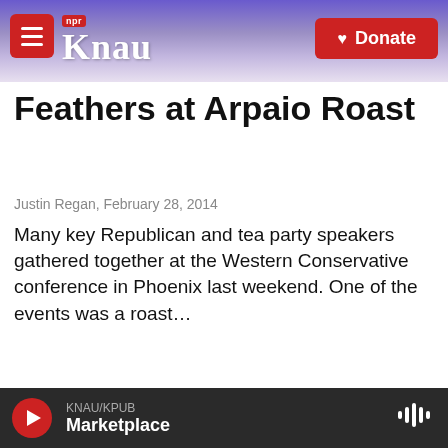KNAU NPR | Donate
Feathers at Arpaio Roast
Justin Regan,  February 28, 2014
Many key Republican and tea party speakers gathered together at the Western Conservative conference in Phoenix last weekend. One of the events was a roast…
[Figure (screenshot): Listen button with play icon reading LISTEN • 1:28]
[Figure (photo): Black and white close-up photograph of a handgun]
KNAU/KPUB  Marketplace